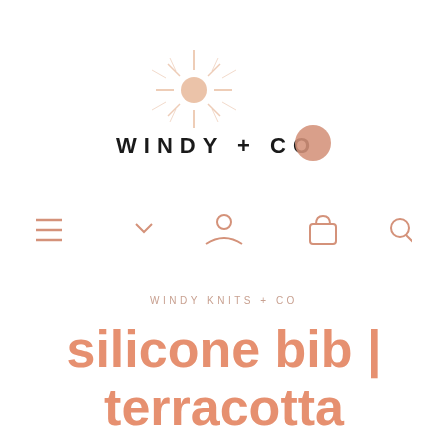[Figure (logo): Windy + Co logo with sunburst illustration above text and a terracotta circle over the 'O' in CO]
[Figure (other): Navigation bar with hamburger menu, dropdown arrow, user icon, shopping bag icon, and search icon in terracotta/salmon color]
WINDY KNITS + CO
silicone bib | terracotta